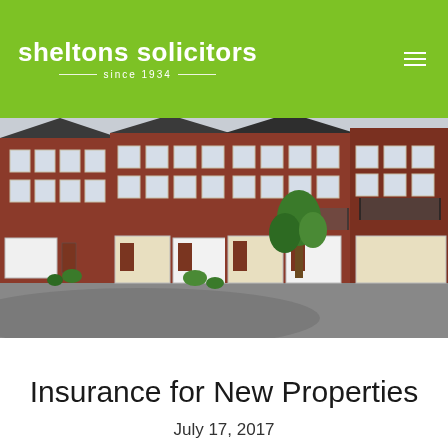sheltons solicitors since 1934
[Figure (photo): Exterior photo of brick residential townhouses with garages, balconies, and landscaped courtyard. New-build properties in a residential development.]
Insurance for New Properties
July 17, 2017